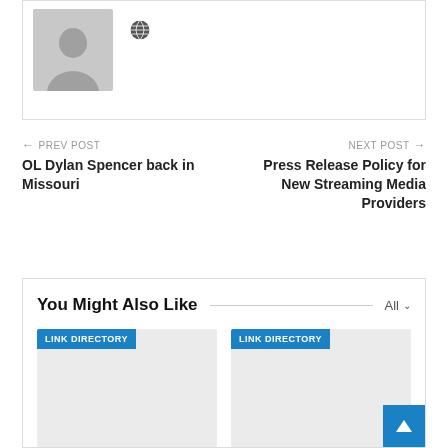[Figure (illustration): User avatar placeholder (gray silhouette) with a globe/world icon next to it, inside a card container]
← PREV POST
OL Dylan Spencer back in Missouri
NEXT POST →
Press Release Policy for New Streaming Media Providers
You Might Also Like
[Figure (screenshot): Link directory card placeholder (gray rectangle) with blue LINK DIRECTORY badge]
[Figure (screenshot): Link directory card placeholder (gray rectangle) with blue LINK DIRECTORY badge]